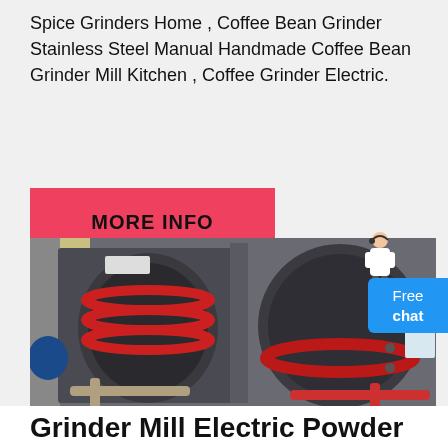Spice Grinders Home , Coffee Bean Grinder Stainless Steel Manual Handmade Coffee Bean Grinder Mill Kitchen , Coffee Grinder Electric.
[Figure (other): Red button/banner with bold text MORE INFO on a red background]
[Figure (photo): Industrial grinder mill machine with dark grey metal body, red rubber rings/seals on rotating drum components, pipes visible at bottom. Large heavy machinery photographed in a factory/warehouse setting.]
[Figure (illustration): Small illustration of a customer service assistant figure (person in white) in top right corner near Free chat button]
Grinder Mill Electric Powder